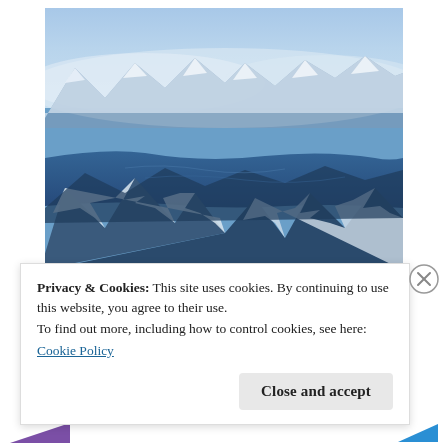[Figure (photo): Aerial photograph of snow-covered mountain ranges with blue fjords and water bodies visible between peaks, taken from an airplane. Light blue sky in the upper portion with snow-capped mountains and dark blue water below.]
Privacy & Cookies: This site uses cookies. By continuing to use this website, you agree to their use.
To find out more, including how to control cookies, see here:
Cookie Policy
Close and accept